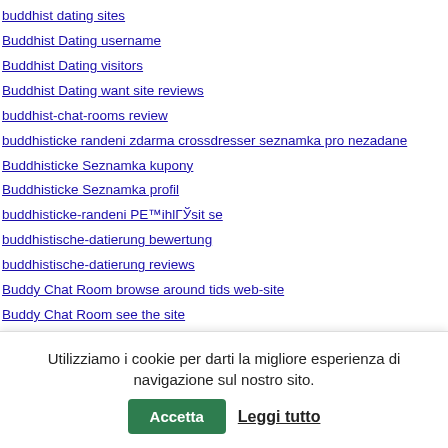buddhist dating sites
Buddhist Dating username
Buddhist Dating visitors
Buddhist Dating want site reviews
buddhist-chat-rooms review
buddhisticke randeni zdarma crossdresser seznamka pro nezadane
Buddhisticke Seznamka kupony
Buddhisticke Seznamka profil
buddhisticke-randeni PE™ihlГЎsit se
buddhistische-datierung bewertung
buddhistische-datierung reviews
Buddy Chat Room browse around tids web-site
Buddy Chat Room see the site
buddygays avis
buddygays borrar cuenta
buddygays come funziona
Utilizziamo i cookie per darti la migliore esperienza di navigazione sul nostro sito.
Accetta
Leggi tutto